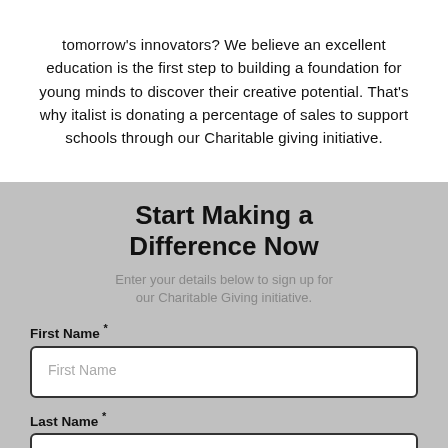tomorrow's innovators? We believe an excellent education is the first step to building a foundation for young minds to discover their creative potential. That's why italist is donating a percentage of sales to support schools through our Charitable giving initiative.
Start Making a Difference Now
Enter your details below to sign up for our Charitable Giving initiative.
First Name *
First Name
Last Name *
Last Name